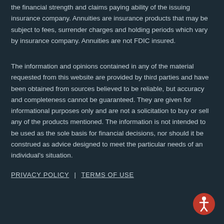the financial strength and claims paying ability of the issuing insurance company. Annuities are insurance products that may be subject to fees, surrender charges and holding periods which vary by insurance company. Annuities are not FDIC insured.
The information and opinions contained in any of the material requested from this website are provided by third parties and have been obtained from sources believed to be reliable, but accuracy and completeness cannot be guaranteed. They are given for informational purposes only and are not a solicitation to buy or sell any of the products mentioned. The information is not intended to be used as the sole basis for financial decisions, nor should it be construed as advice designed to meet the particular needs of an individual's situation.
PRIVACY POLICY | TERMS OF USE